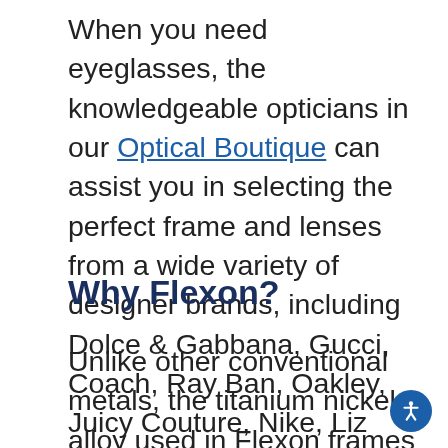When you need eyeglasses, the knowledgeable opticians in our Optical Boutique can assist you in selecting the perfect frame and lenses from a wide variety of designer brands, including Dolce & Gabbana, Gucci, Coach, Ray Ban, Oakley, Juicy Couture, Nike, Liz Claiborne, Nautica, Charmant, Flexon, and many others.
Why Flexon?
Unlike other conventional metals, the titanium nickel alloy used in Flexon frames is lighter in weight and more durable. The best feature is that this “memory metal” will return to its original shape even after being flexed...